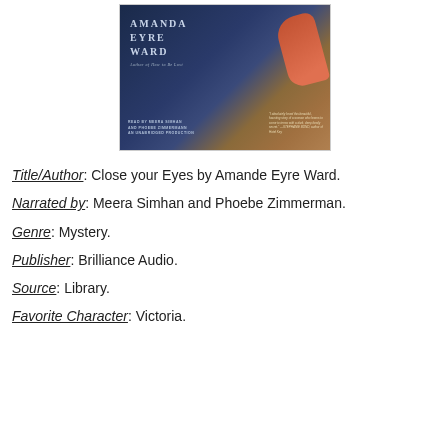[Figure (illustration): Book cover of 'Close Your Eyes' by Amanda Eyre Ward. Dark blue background with author name, read by Meera Simhan and Phoebe Zimmermann, an unabridged production. Right side shows a red-draped arm.]
Title/Author: Close your Eyes by Amande Eyre Ward.
Narrated by: Meera Simhan and Phoebe Zimmerman.
Genre: Mystery.
Publisher: Brilliance Audio.
Source: Library.
Favorite Character: Victoria.